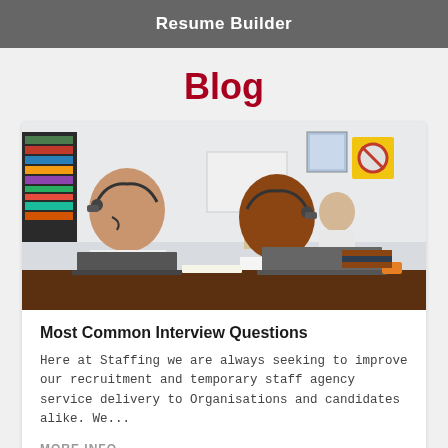Resume Builder
Blog
[Figure (photo): Office scene with two women wearing headsets working on laptops at a desk, a man in background at a whiteboard, and another person seated further back.]
Most Common Interview Questions
Here at Staffing we are always seeking to improve our recruitment and temporary staff agency service delivery to Organisations and candidates alike. We...
MORE INFO